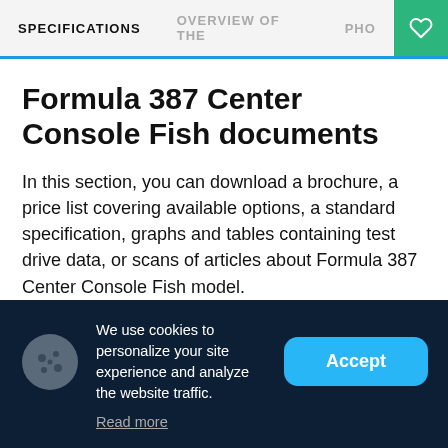SPECIFICATIONS   OVERVIEW OF THE   PHO
Formula 387 Center Console Fish documents
In this section, you can download a brochure, a price list covering available options, a standard specification, graphs and tables containing test drive data, or scans of articles about Formula 387 Center Console Fish model.
We use cookies to personalize your site experience and analyze the website traffic.
Read more